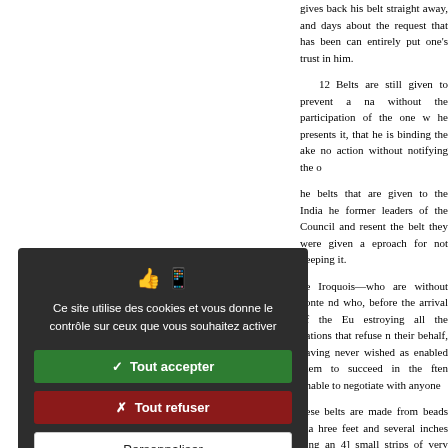gives back his belt straight away, and days about the request that has been can entirely put one's trust in him.
12   Belts are still given to prevent a na without the participation of the one w he presents it, that he is binding the ake no action without notifying the o
he belts that are given to the India he former leaders of the Council and resent the belt they were given a eproach for not keeping it.
The Iroquois—who are without conte nd who, before the arrival of the Eu estroying all the nations that refuse n their behalf, having never wished as enabled them to succeed in the ften unable to negotiate with anyone
hese belts are made from beads ma hree feet and several inches long an 4] small strips of very delicate skin, hese two colors figures, and designs re at most the width of two or three
[Figure (screenshot): Cookie consent overlay with dark background. Contains icons, a message in French 'Ce site utilise des cookies et vous donne le contrôle sur ceux que vous souhaitez activer', and three buttons: green 'Tout accepter', red 'Tout refuser', white 'Personnaliser', plus a 'Politique de confidentialité' link.]